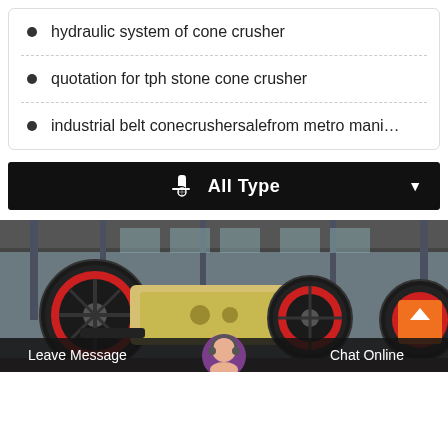hydraulic system of cone crusher
quotation for tph stone cone crusher
industrial belt conecrushersalefrom metro mani…
[Figure (screenshot): Black dropdown bar with hand/cursor icon and text 'All Type' with a down arrow on the right]
[Figure (photo): Industrial factory floor with large wheel-type jaw crusher machinery, red and black flywheels visible in a warehouse setting. Orange scroll-up button in bottom right. Chat bar at bottom with 'Leave Message' on left, female avatar in center, 'Chat Online' on right.]